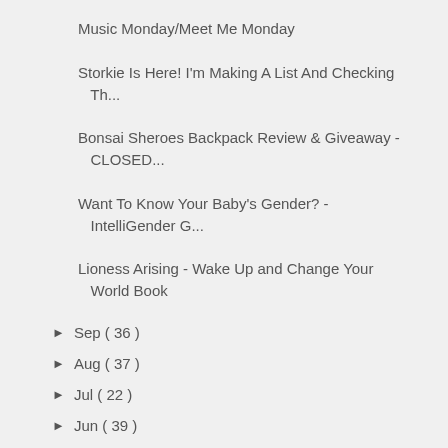Music Monday/Meet Me Monday
Storkie Is Here! I'm Making A List And Checking Th...
Bonsai Sheroes Backpack Review & Giveaway - CLOSED...
Want To Know Your Baby's Gender? - IntelliGender G...
Lioness Arising - Wake Up and Change Your World Book
► Sep ( 36 )
► Aug ( 37 )
► Jul ( 22 )
► Jun ( 39 )
► May ( 7 )
► Apr ( 29 )
► Mar ( 33 )